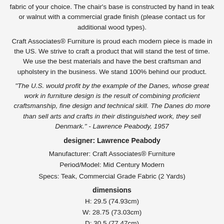fabric of your choice. The chair's base is constructed by hand in teak or walnut with a commercial grade finish (please contact us for additional wood types).
Craft Associates® Furniture is proud each modern piece is made in the US. We strive to craft a product that will stand the test of time. We use the best materials and have the best craftsman and upholstery in the business. We stand 100% behind our product.
"The U.S. would profit by the example of the Danes, whose great work in furniture design is the result of combining proficient craftsmanship, fine design and technical skill. The Danes do more than sell arts and crafts in their distinguished work, they sell Denmark." - Lawrence Peabody, 1957
designer: Lawrence Peabody
Manufacturer: Craft Associates® Furniture
Period/Model: Mid Century Modern
Specs: Teak, Commercial Grade Fabric (2 Yards)
dimensions
H: 29.5 (74.93cm)
W: 28.75 (73.03cm)
D: 30.5 (77.47cm)
Arm Height: 22.5 (57.15cm)
Seat Height: 17 (43.18cm)